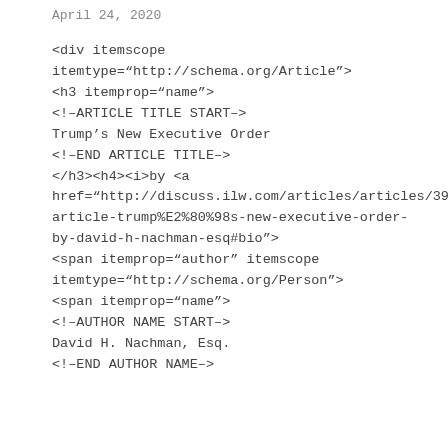April 24, 2020
<div itemscope
itemtype="http://schema.org/Article">
<h3 itemprop="name">
<!--ARTICLE TITLE START–>
Trump's New Executive Order
<!–END ARTICLE TITLE–>
</h3><h4><i>by <a
href="http://discuss.ilw.com/articles/articles/393776-article-trump%E2%80%98s-new-executive-order-by-david-h-nachman-esq#bio">
<span itemprop="author" itemscope
itemtype="http://schema.org/Person">
<span itemprop="name">
<!–AUTHOR NAME START–>
David H. Nachman, Esq.
<!–END AUTHOR NAME–>